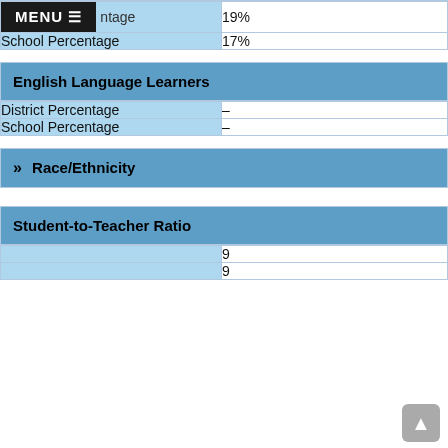| District Percentage | 19% |
| --- | --- |
| School Percentage | 17% |
English Language Learners
| District Percentage | – |
| School Percentage | – |
Race/Ethnicity
Student-to-Teacher Ratio
|  | 9 |
|  | 9 |